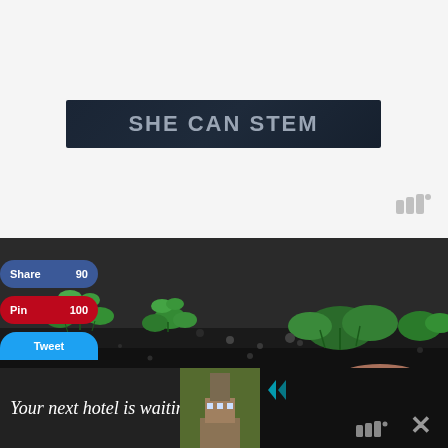[Figure (logo): SHE CAN STEM logo banner — dark navy background with bold gray text reading SHE CAN STEM]
[Figure (photo): Close-up photo of green seedling plants growing in dark soil/earth]
Share 90
Pin 100
Tweet
[Figure (screenshot): Advertisement banner: 'Your next hotel is waiting for you' with hotel image on dark background]